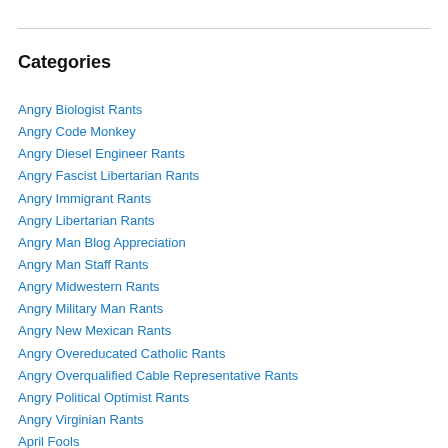Categories
Angry Biologist Rants
Angry Code Monkey
Angry Diesel Engineer Rants
Angry Fascist Libertarian Rants
Angry Immigrant Rants
Angry Libertarian Rants
Angry Man Blog Appreciation
Angry Man Staff Rants
Angry Midwestern Rants
Angry Military Man Rants
Angry New Mexican Rants
Angry Overeducated Catholic Rants
Angry Overqualified Cable Representative Rants
Angry Political Optimist Rants
Angry Virginian Rants
April Fools